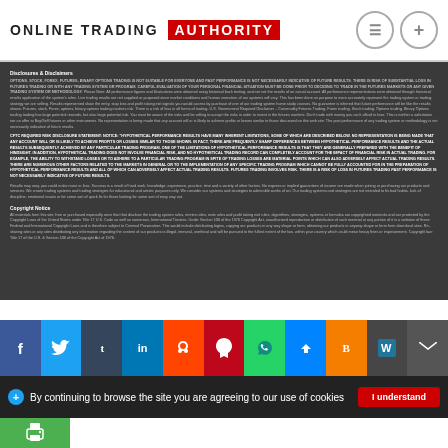Online Trading AUTHORITY
Disclosures & Disclaimers
OPTIONS, STOCK, FOREX, FUTURES, BINARY OPTIONS TRADING IS NOT SUITABLE FOR EVERYONE AND PAST PERFORMANCE IS NOT NECESSARILY INDICATIVE OF FUTURE RESULTS. THERE IS RISK OF SUBSTANTIAL LOSS IN FUTURES TRADING OR WITH ANY TRADING SYSTEM OR PROGRAM. CAREFUL EVALUATION OF YOUR PERSONAL FINANCIAL SITUATION MUST BE DONE PRIOR TO DECIDING TO TRADE IN THE FUTURES MARKETS OR ANY GIVEN TRADING SYSTEM OR METHODOLOGY. Please Note: All performance figures and illustrations were obtained using historical back testing, and are not the results of an actual account. All performance representations were obtained through historical results application of the system's rules. Live trading results are not supplied or purposed since market conditions and human execution of our systems will vary. This has been done on purpose to more accurately represent the trading system or trading strategy we are selling. Results represented show the entry, stop loss and profit taking exit signals you would access by purchase of one of our trading system home study courses. No guarantee is inferred that future performance will be like the results shown. Futures, stock, Forex, options, binary options trading involves risk. There is a risk of loss in all forms of trading. U.S. Government Required Disclaimer – Commodity Futures Trading, Forex trading, Stock trading, Options trading, Binary Options trading trading has large potential rewards, but also large potential risk. You must be aware of the risks and be willing to accept the risks in order to invest in the futures markets. Don't trade with money you can't afford to lose. This is neither a solicitation nor an offer to Buy/Sell futures or other instruments. No representation is being made that any account will or is likely to achieve profits or losses similar to those discussed on this web site. The past performance of any trading system or methodology is not necessarily indicative of future results.
CFTC REQUIRED RISK DISCLOSURE STATEMENT: NOTICE: "HYPOTHETICAL PERFORMANCE RESULTS HAVE MANY INHERENT LIMITATIONS, SOME OF WHICH ARE DESCRIBED BELOW. NO REPRESENTATION IS BEING MADE THAT ANY ACCOUNT WILL OR IS LIKELY TO ACHIEVE PROFITS OR LOSSES SIMILAR TO THOSE SHOWN. IN FACT, THERE ARE FREQUENTLY SHARP DIFFERENCES BETWEEN HYPOTHETICAL PERFORMANCE RESULTS AND THE ACTUAL RESULTS SUBSEQUENTLY ACHIEVED BY ANY PARTICULAR TRADING PROGRAM. ONE OF THE LIMITATIONS OF HYPOTHETICAL PERFORMANCE RESULTS IS THAT THEY ARE GENERALLY PREPARED WITH THE BENEFIT OF HINDSIGHT. IN ADDITION, HYPOTHETICAL TRADING DOES NOT INVOLVE FINANCIAL RISK, AND NO HYPOTHETICAL TRADING RECORD CAN COMPLETELY ACCOUNT FOR THE IMPACT OF FINANCIAL RISK IN ACTUAL TRADING. FOR EXAMPLE, THE ABILITY TO WITHSTAND LOSSES OR TO ADHERE TO A PARTICULAR TRADING PROGRAM IN SPITE OF TRADING LOSSES ARE MATERIAL POINTS WHICH CAN ALSO ADVERSELY AFFECT ACTUAL TRADING RESULTS. THERE ARE NUMEROUS OTHER FACTORS RELATED TO THE MARKETS IN GENERAL OR TO THE IMPLEMENTATION OF ANY SPECIFIC TRADING PROGRAM WHICH CANNOT BE FULLY ACCOUNTED FOR IN THE PREPARATION OF HYPOTHETICAL PERFORMANCE RESULTS AND ALL OF WHICH CAN ADVERSELY AFFECT ACTUAL TRADING RESULTS. FUTURES TRADING INVOLVES RISK. THERE IS A RISK OF LOSS IN FUTURES TRADING PAST PERFORMANCE IS NOT NECESSARILY INDICATIVE OF FUTURE RESULTS.
Results may vary, you could make more or less. Success is a result of hard work, knowledge, experience, practice, time and a variety of other factors. No express or implied guarantees of income are made when joining or purchasing our products and services. We create trading systems and trading strategies for educational and artistic purposes only. We consider our systems and strategies to eliminate works of art. Our trading systems and strategies are not intended to fix bad habits, lack of discipline, emotional issues or be some sort of quick fix for those looking for some sort of easy way out.
Copyright Notice
All materials from this site, free or purchased especially once that that disclose the trading system rules, entries rules, exits rules and profit taking exit rules, algorithms, strategies, systems or formulas are copyrighted materials and are protected by the Copyright Laws of the United States under Title 17 U.S. Code as well as numerous, International Treaties. Under Section 106 of the 1976 Copyright Act, unauthorized reproduction or distribution of such material or any portion of it is a violation of these Federal and International Copyright Laws and is therefore subject to Criminal Prosecution. This would include distributing logins, copying our products in any way shape or form, obtaining our products in anyway shape or form from download sites. Re-sharing sites or any sites distributing any information regarding the content of our products is illegal, immoral, unethical and will be pursued to the fullest extent of the law, within your country which could mean heavy fines or imprisonment. Copyright law: Title 17 of the U.S. & Section 106 of the Copyright Act of 1976.
[Figure (infographic): Social media sharing icons: Facebook, Twitter, Tumblr, LinkedIn, Reddit, Pinterest, WhatsApp, Messenger, Blogger, WordPress, Email]
By continuing to browse the site you are agreeing to our use of cookies
[Figure (other): Green print button at bottom left]